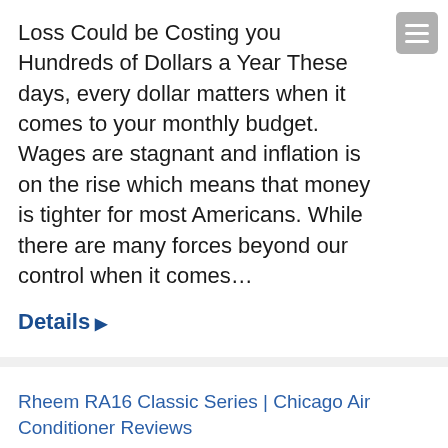Loss Could be Costing you Hundreds of Dollars a Year These days, every dollar matters when it comes to your monthly budget. Wages are stagnant and inflation is on the rise which means that money is tighter for most Americans. While there are many forces beyond our control when it comes…
Details ▶
Rheem RA16 Classic Series | Chicago Air Conditioner Reviews
air conditioner, air conditioner installation in Chicago, Residential